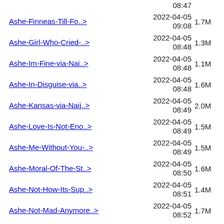08:47 (partial top)
Ashe-Finneas-Till-Fo..> 2022-04-05 09:08 1.7M
Ashe-Girl-Who-Cried-..> 2022-04-05 08:48 1.3M
Ashe-Im-Fine-via-Nai..> 2022-04-05 08:48 1.1M
Ashe-In-Disguise-via..> 2022-04-05 08:48 1.6M
Ashe-Kansas-via-Naij..> 2022-04-05 08:49 2.0M
Ashe-Love-Is-Not-Eno..> 2022-04-05 08:49 1.5M
Ashe-Me-Without-You-..> 2022-04-05 08:49 1.5M
Ashe-Moral-Of-The-St..> 2022-04-05 08:50 1.6M
Ashe-Not-How-Its-Sup..> 2022-04-05 08:51 1.4M
Ashe-Not-Mad-Anymore..> 2022-04-05 08:52 1.7M
Ashe-Real-Love-via-N..> 2022-04-05 08:52 1.8M